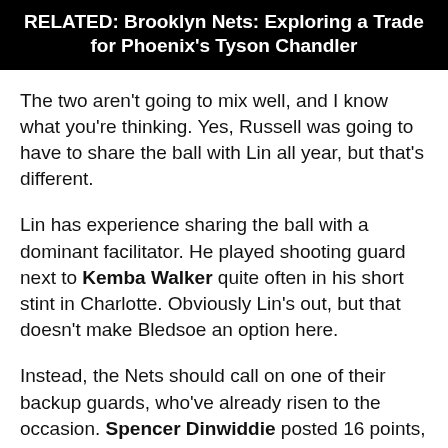RELATED: Brooklyn Nets: Exploring a Trade for Phoenix's Tyson Chandler
The two aren't going to mix well, and I know what you're thinking. Yes, Russell was going to have to share the ball with Lin all year, but that's different.
Lin has experience sharing the ball with a dominant facilitator. He played shooting guard next to Kemba Walker quite often in his short stint in Charlotte. Obviously Lin's out, but that doesn't make Bledsoe an option here.
Instead, the Nets should call on one of their backup guards, who've already risen to the occasion. Spencer Dinwiddie posted 16 points, 5 assists, and 5 rebounds in the Nets win over the Magic last Friday